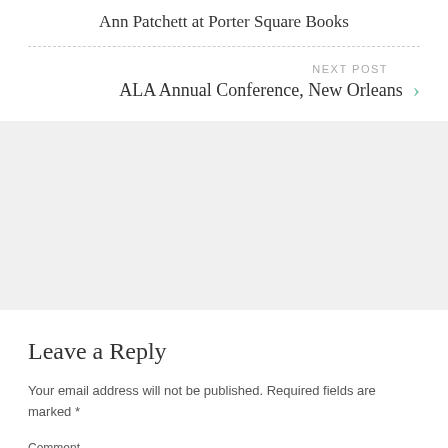Ann Patchett at Porter Square Books
NEXT POST
ALA Annual Conference, New Orleans
Leave a Reply
Your email address will not be published. Required fields are marked *
Comment
*